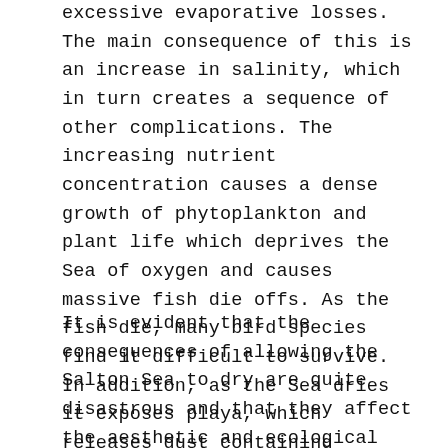excessive evaporative losses. The main consequence of this is an increase in salinity, which in turn creates a sequence of other complications. The increasing nutrient concentration causes a dense growth of phytoplankton and plant life which deprives the Sea of oxygen and causes massive fish die offs. As the fish die, many bird species find it difficult to survive. In addition, as the Sea dries it exposes playa, which releases dust containing dangerous chemical compounds buried at the bottom of the Sea from decades of agricultural runoff.
It is evident that the consequences of allowing the Salton Sea to dry are quite disastrous and that they affect the aesthetic and ecological integrity of the Sea. It is right to say that the best conservation th...